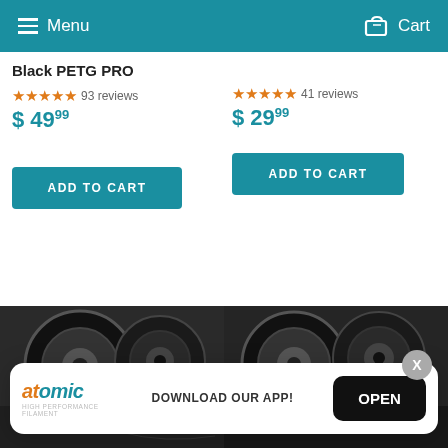Menu  Cart
Black PETG PRO
★★★★★ 93 reviews
$ 49.99
★★★★★ 41 reviews
$ 29.99
ADD TO CART
ADD TO CART
[Figure (photo): Black PETG filament spools shown at bottom of the page]
DOWNLOAD OUR APP!  OPEN